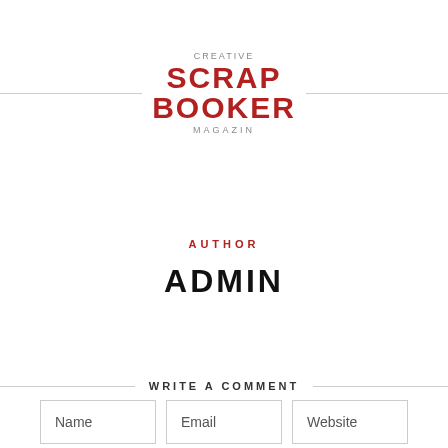[Figure (logo): Creative Scrapbooker Magazine logo with red bold SCRAP BOOKER text and gray CREATIVE / MAGAZIN text, flanked by horizontal lines]
AUTHOR
ADMIN
WRITE A COMMENT
Name | Email | Website (form fields)